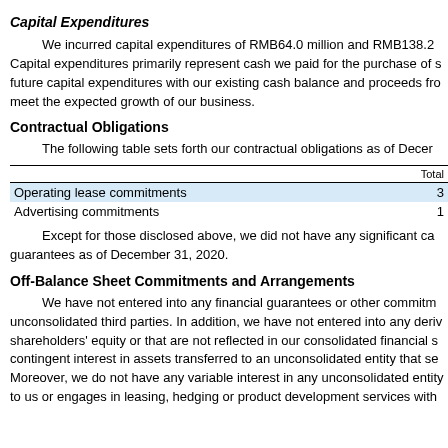Capital Expenditures
We incurred capital expenditures of RMB64.0 million and RMB138.2 Capital expenditures primarily represent cash we paid for the purchase of s future capital expenditures with our existing cash balance and proceeds fro meet the expected growth of our business.
Contractual Obligations
The following table sets forth our contractual obligations as of Decer
|  | Total |
| --- | --- |
| Operating lease commitments | 3 |
| Advertising commitments | 1 |
Except for those disclosed above, we did not have any significant ca guarantees as of December 31, 2020.
Off-Balance Sheet Commitments and Arrangements
We have not entered into any financial guarantees or other commitm unconsolidated third parties. In addition, we have not entered into any deriv shareholders' equity or that are not reflected in our consolidated financial s contingent interest in assets transferred to an unconsolidated entity that se Moreover, we do not have any variable interest in any unconsolidated entity to us or engages in leasing, hedging or product development services with